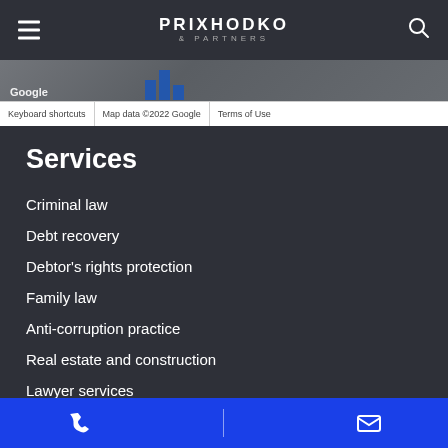PRIKHODKO & PARTNERS
[Figure (screenshot): Google Maps strip with map data attribution bar showing: Keyboard shortcuts | Map data ©2022 Google | Terms of Use]
Services
Criminal law
Debt recovery
Debtor's rights protection
Family law
Anti-corruption practice
Real estate and construction
Lawyer services
Legal aid
Phone | Email